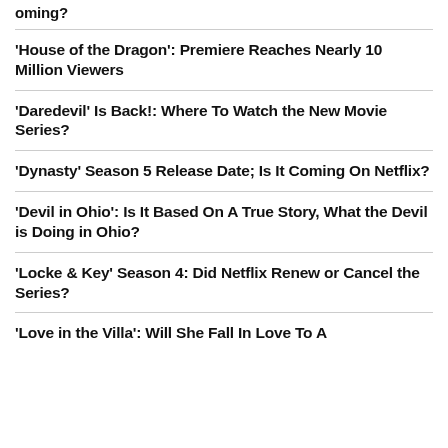oming?
'House of the Dragon': Premiere Reaches Nearly 10 Million Viewers
'Daredevil' Is Back!: Where To Watch the New Movie Series?
'Dynasty' Season 5 Release Date; Is It Coming On Netflix?
'Devil in Ohio': Is It Based On A True Story, What the Devil is Doing in Ohio?
'Locke & Key' Season 4: Did Netflix Renew or Cancel the Series?
'Love in the Villa': Will She Fall In Love To A